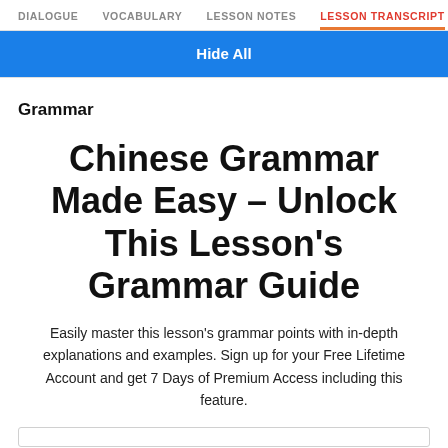DIALOGUE  VOCABULARY  LESSON NOTES  LESSON TRANSCRIPT  C
[Figure (screenshot): Blue 'Hide All' button bar]
Grammar
Chinese Grammar Made Easy – Unlock This Lesson's Grammar Guide
Easily master this lesson's grammar points with in-depth explanations and examples. Sign up for your Free Lifetime Account and get 7 Days of Premium Access including this feature.